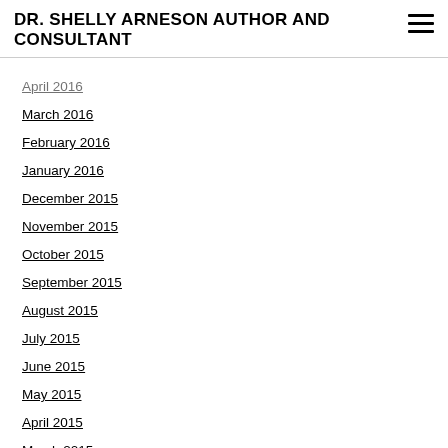DR. SHELLY ARNESON AUTHOR AND CONSULTANT
April 2016
March 2016
February 2016
January 2016
December 2015
November 2015
October 2015
September 2015
August 2015
July 2015
June 2015
May 2015
April 2015
March 2015
February 2015
January 2015
December 2014